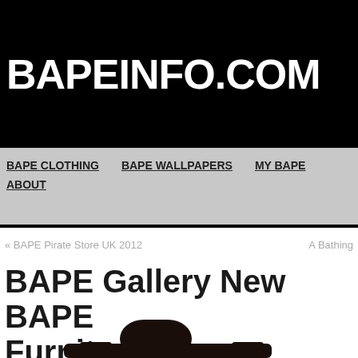BAPEINFO.COM
BAPE CLOTHING   BAPE WALLPAPERS   MY BAPE   ABOUT
« BAPE Pirate Store UK 2012   A Bathing
BAPE Gallery New BAPE Furniture
[Figure (photo): Dark brown/black furniture piece (appears to be a chair or table leg), partially visible at bottom of page]